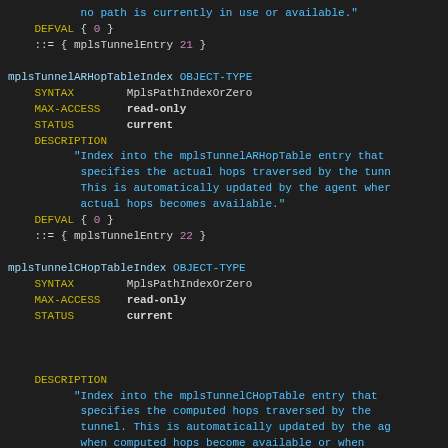no path is currently in use or available."
    DEFVAL { 0 }
    ::= { mplsTunnelEntry 21 }

mplsTunnelARHopTableIndex OBJECT-TYPE
    SYNTAX        MplsPathIndexOrZero
    MAX-ACCESS    read-only
    STATUS        current
    DESCRIPTION
          "Index into the mplsTunnelARHopTable entry that
           specifies the actual hops traversed by the tunn
           This is automatically updated by the agent wher
           actual hops becomes available."
    DEFVAL { 0 }
    ::= { mplsTunnelEntry 22 }

mplsTunnelCHopTableIndex OBJECT-TYPE
    SYNTAX        MplsPathIndexOrZero
    MAX-ACCESS    read-only
    STATUS        current



    DESCRIPTION
          "Index into the mplsTunnelCHopTable entry that
           specifies the computed hops traversed by the
           tunnel. This is automatically updated by the ag
           when computed hops become available or when
           computed hops get modified."
    DEFVAL { 0 }